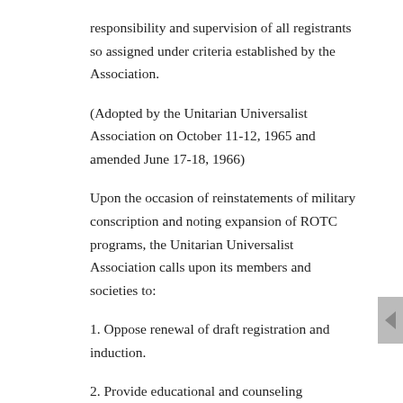responsibility and supervision of all registrants so assigned under criteria established by the Association.
(Adopted by the Unitarian Universalist Association on October 11-12, 1965 and amended June 17-18, 1966)
Upon the occasion of reinstatements of military conscription and noting expansion of ROTC programs, the Unitarian Universalist Association calls upon its members and societies to:
1. Oppose renewal of draft registration and induction.
2. Provide educational and counseling opportunities for draft-eligible youth in our communities.
3. Encourage peace registration of our conscientious objectors.
4. Encourage peace career programs to counterbalance recruitment into military- sponsored "career" preparation programs.